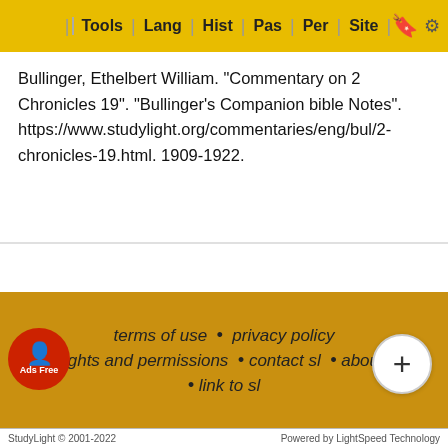Tools | Lang | Hist | Pas | Per | Site
Bullinger, Ethelbert William. "Commentary on 2 Chronicles 19". "Bullinger's Companion bible Notes". https://www.studylight.org/commentaries/eng/bul/2-chronicles-19.html. 1909-1922.
terms of use • privacy policy • rights and permissions • contact sl • about sl • link to sl
To report dead links, typos, or html errors or suggestions about making these resources more useful use the convenient contact form
StudyLight © 2001-2022 Powered by LightSpeed Technology